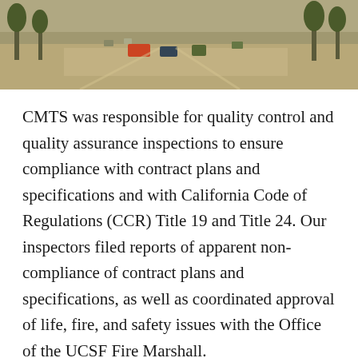[Figure (photo): Aerial or elevated view of a construction site with trees, vehicles, and workers on sandy/dusty ground]
CMTS was responsible for quality control and quality assurance inspections to ensure compliance with contract plans and specifications and with California Code of Regulations (CCR) Title 19 and Title 24. Our inspectors filed reports of apparent non-compliance of contract plans and specifications, as well as coordinated approval of life, fire, and safety issues with the Office of the UCSF Fire Marshall.
[Figure (photo): Partial view of a photo at the bottom of the page, partially cut off]